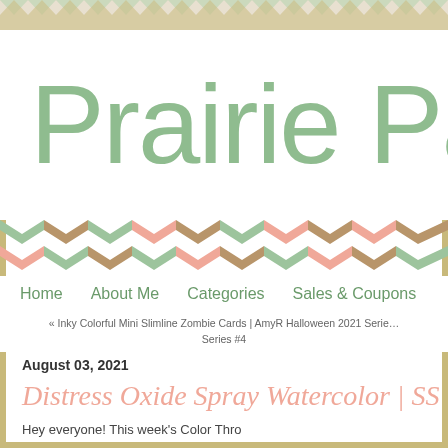[Figure (illustration): Top decorative chevron/zigzag pattern strip in sage green, peach, tan/gold colors]
Prairie Pa
[Figure (illustration): Horizontal chevron/arrow banner in repeating sage green, peach, tan/gold colors]
Home   About Me   Categories   Sales & Coupons
« Inky Colorful Mini Slimline Zombie Cards | AmyR Halloween 2021 Serie… Series #4
August 03, 2021
Distress Oxide Spray Watercolor | SS
Hey everyone! This week's Color Thro